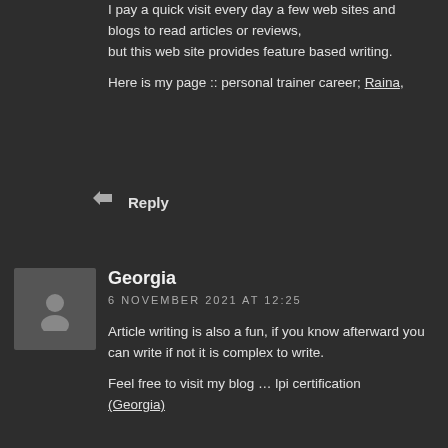I pay a quick visit every day a few web sites and blogs to read articles or reviews, but this web site provides feature based writing.
Here is my page :: personal trainer career; Raina,
Reply
Georgia
6 NOVEMBER 2021 AT 12:25
Article writing is also a fun, if you know afterward you can write if not it is complex to write.
Feel free to visit my blog … lpi certification (Georgia)